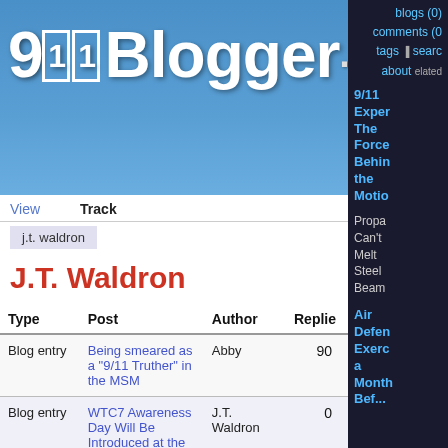[Figure (logo): 911Blogger.com website logo on blue gradient header]
blogs (0)
comments (0)
tags | search
about | related
View | Track
j.t. waldron
J.T. Waldron
| Type | Post | Author | Replies |
| --- | --- | --- | --- |
| Blog entry | Being smeared as a "9/11 Truther" in the MSM | Abby | 90 |
| Blog entry | WTC7 Awareness Day Will Be Introduced at the Oregon State Capitol | J.T. Waldron | 0 |
| Blog entry | Democracy Now! Ignores Zionism When Discussing | J.T. Waldron | 0 |
9/11 Exper The Force Behin the Motio
Propa Can't Melt Steel Beam
Air Defen Exerc a Month Bef...